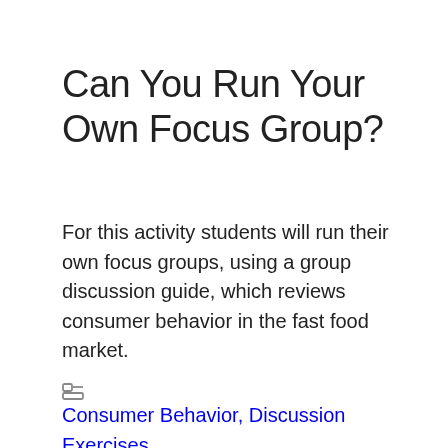Can You Run Your Own Focus Group?
For this activity students will run their own focus groups, using a group discussion guide, which reviews consumer behavior in the fast food market.
Consumer Behavior, Discussion Exercises, New Product Process, Research and MIS